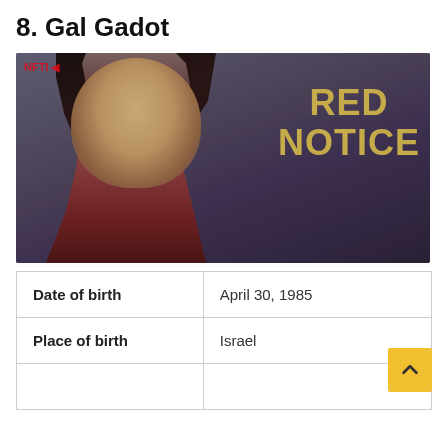8. Gal Gadot
[Figure (photo): Photo of Gal Gadot at a Red Notice premiere event, wearing a red dress with diamond earrings, with 'RED NOTICE' text visible in the background]
| Date of birth | April 30, 1985 |
| Place of birth | Israel |